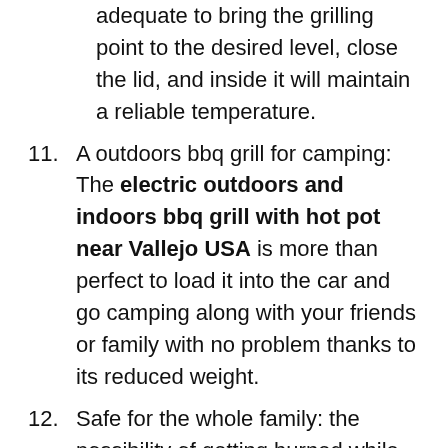(continuation) adequate to bring the grilling point to the desired level, close the lid, and inside it will maintain a reliable temperature.
11. A outdoors bbq grill for camping: The electric outdoors and indoors bbq grill with hot pot near Vallejo USA is more than perfect to load it into the car and go camping along with your friends or family with no problem thanks to its reduced weight.
12. Safe for the whole family: the possibility of getting burned while barbecuing is unavoidable…or perhaps is it? With the electric outdoors and indoors bbq grill